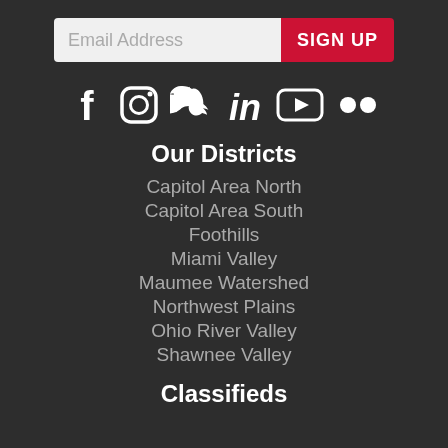Email Address / SIGN UP
[Figure (infographic): Social media icons: Facebook, Instagram, Twitter, LinkedIn, YouTube, Flickr]
Our Districts
Capitol Area North
Capitol Area South
Foothills
Miami Valley
Maumee Watershed
Northwest Plains
Ohio River Valley
Shawnee Valley
Classifieds